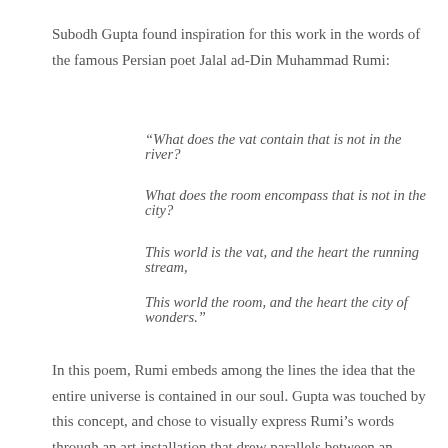Subodh Gupta found inspiration for this work in the words of the famous Persian poet Jalal ad-Din Muhammad Rumi:
“What does the vat contain that is not in the river?
What does the room encompass that is not in the city?
This world is the vat, and the heart the running stream,
This world the room, and the heart the city of wonders.”
In this poem, Rumi embeds among the lines the idea that the entire universe is contained in our soul. Gupta was touched by this concept, and chose to visually express Rumi’s words through an art installation that drew parallels between an individuals’s life and a boat.